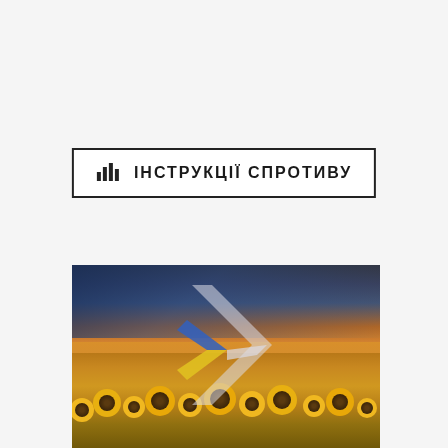ІНСТРУКЦІЇ СПРОТИВУ
[Figure (photo): A sunflower field under a dramatic sunset sky with dark storm clouds. Overlaid in the center is a large logo comprising a blue-and-yellow chevron/arrow shape (pointing right) with a semi-transparent white/grey larger chevron behind it, referencing Ukrainian national colors.]